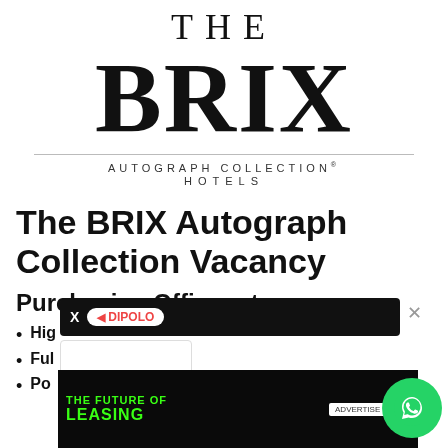[Figure (logo): The BRIX Autograph Collection Hotels logo with large serif BRIX text and horizontal divider line]
The BRIX Autograph Collection Vacancy
Purchasing Officer at
Hig...
Ful...
Po...